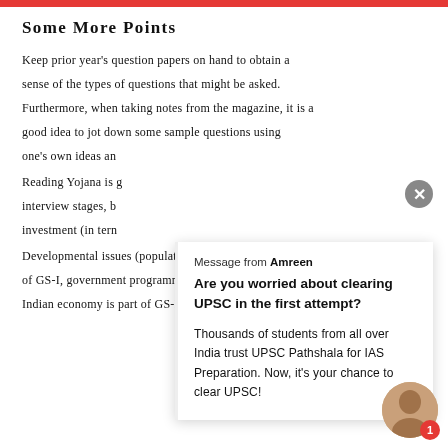Some More Points
Keep prior year's question papers on hand to obtain a sense of the types of questions that might be asked. Furthermore, when taking notes from the magazine, it is a good idea to jot down some sample questions using one's own ideas an...
Reading Yojana is g... interview stages, b... investment (in tern...
Developmental issues (population, urbanisation) are part of GS-I, government programmes are part of GS-II, t... Indian economy is part of GS-III, and any socio-econ...
[Figure (other): Popup chat message from Amreen asking about clearing UPSC in first attempt, with message from UPSC Pathshala for IAS Preparation. Thousands of students from all over India trust UPSC Pathshala. Now, it's your chance to clear UPSC!]